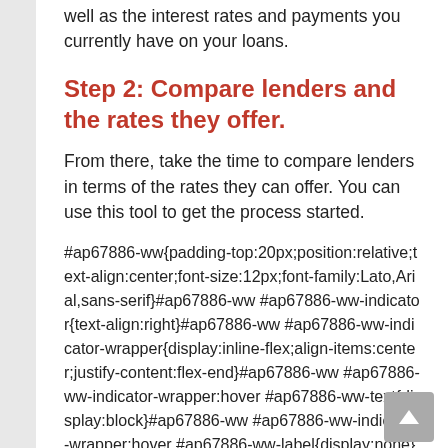well as the interest rates and payments you currently have on your loans.
Step 2: Compare lenders and the rates they offer.
From there, take the time to compare lenders in terms of the rates they can offer. You can use this tool to get the process started.
#ap67886-ww{padding-top:20px;position:relative;text-align:center;font-size:12px;font-family:Lato,Arial,sans-serif}#ap67886-ww #ap67886-ww-indicator{text-align:right}#ap67886-ww #ap67886-ww-indicator-wrapper{display:inline-flex;align-items:center;justify-content:flex-end}#ap67886-ww #ap67886-ww-indicator-wrapper:hover #ap67886-ww-text{display:block}#ap67886-ww #ap67886-ww-indicator-wrapper:hover #ap67886-ww-label{display:none}#ap67886-ww #ap67886-ww-text{margin:auto 3px auto auto}#ap67886-ww